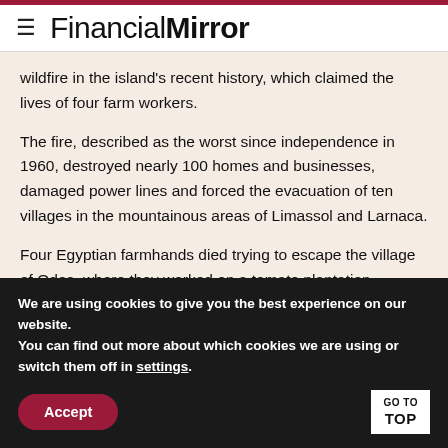Financial Mirror
wildfire in the island's recent history, which claimed the lives of four farm workers.
The fire, described as the worst since independence in 1960, destroyed nearly 100 homes and businesses, damaged power lines and forced the evacuation of ten villages in the mountainous areas of Limassol and Larnaca.
Four Egyptian farmhands died trying to escape the village of Odos, where they worked on a tomato plantation.
We are using cookies to give you the best experience on our website.
You can find out more about which cookies we are using or switch them off in settings.
Accept
GO TO TOP